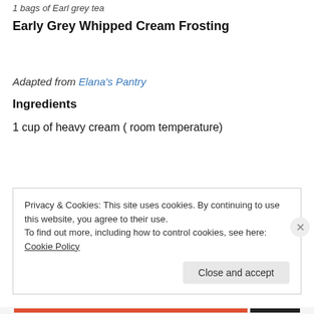1 bags of Earl grey tea
Early Grey Whipped Cream Frosting
Adapted from Elana's Pantry
Ingredients
1 cup of heavy cream ( room temperature)
Privacy & Cookies: This site uses cookies. By continuing to use this website, you agree to their use. To find out more, including how to control cookies, see here: Cookie Policy